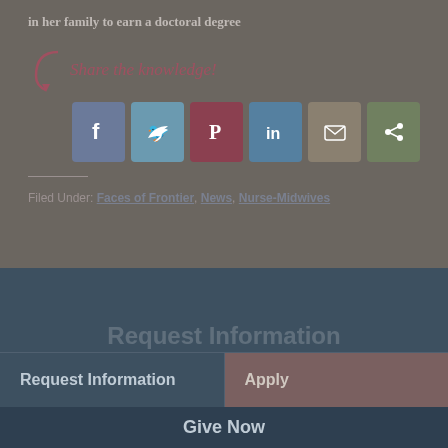in her family to earn a doctoral degree
[Figure (infographic): Share the knowledge! with social media icons for Facebook, Twitter, Pinterest, LinkedIn, Email, and More sharing options]
Filed Under: Faces of Frontier, News, Nurse-Midwives
Request Information
Request Information   Apply
Give Now